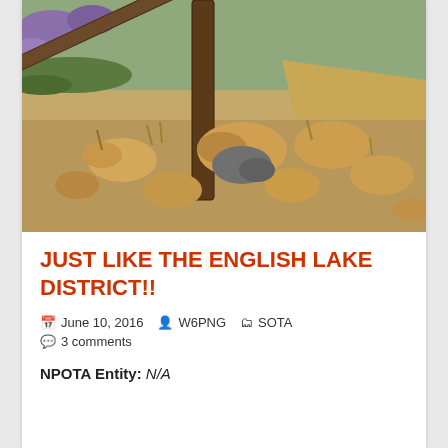[Figure (photo): Outdoor trail photo showing a wooden fence post and rustic wooden rail beside a rocky path, with dry grass, large sandstone boulders, and purple flowering plants (heather) in the background. The scene resembles a moorland or hillside terrain.]
JUST LIKE THE ENGLISH LAKE DISTRICT!!
June 10, 2016   W6PNG   SOTA   3 comments
NPOTA Entity: N/A